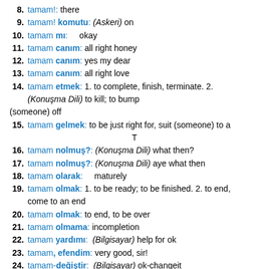8. tamam!: there
9. tamam! komutu: (Askeri) on
10. tamam mı: okay
11. tamam canım: all right honey
12. tamam canım: yes my dear
13. tamam canım: all right love
14. tamam etmek: 1. to complete, finish, terminate. 2. (Konuşma Dili) to kill; to bump (someone) off
15. tamam gelmek: to be just right for, suit (someone) to a T
16. tamam nolmuş?: (Konuşma Dili) what then?
17. tamam nolmuş?: (Konuşma Dili) aye what then
18. tamam olarak: maturely
19. tamam olmak: 1. to be ready; to be finished. 2. to end, come to an end
20. tamam olmak: to end, to be over
21. tamam olmama: incompletion
22. tamam yardımı: (Bilgisayar) help for ok
23. tamam, efendim: very good, sir!
24. tamam-değiştir: (Bilgisayar) ok-changeit
25. goldie tamam: (Askeri) goldie lock
26. tamamlar: complete